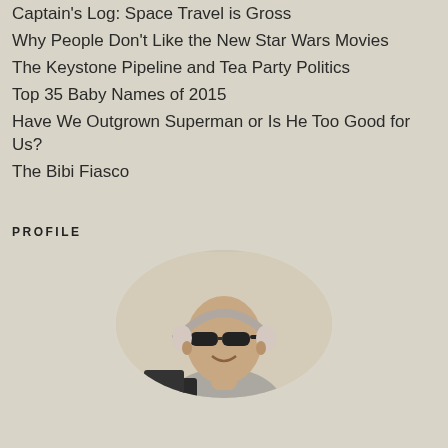Captain's Log: Space Travel is Gross
Why People Don't Like the New Star Wars Movies
The Keystone Pipeline and Tea Party Politics
Top 35 Baby Names of 2015
Have We Outgrown Superman or Is He Too Good for Us?
The Bibi Fiasco
PROFILE
[Figure (photo): Circular profile photo of a man wearing sunglasses and headphones, seated in front of a microphone/monitor, smiling.]